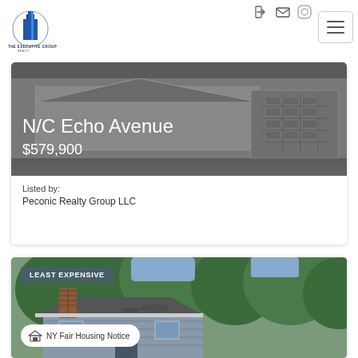[Figure (logo): The Executive Group Realty logo — a blue and dark building icon with circular globe element and company name below]
[Figure (screenshot): Navigation icons: sign-in arrow, envelope/email, and Instagram-style camera icon in top right, plus hamburger menu button]
[Figure (photo): Architectural rendering/blueprint of a house facade showing garage door with grid panels, on dark gray background. Overlaid text: N/C Echo Avenue and $579,900]
Listed by:
Peconic Realty Group LLC
[Figure (photo): Photo of a residential home with brick chimney, gray siding, and surrounding green trees. Badge: LEAST EXPENSIVE. Fair housing notice badge overlay.]
LEAST EXPENSIVE
NY Fair Housing Notice